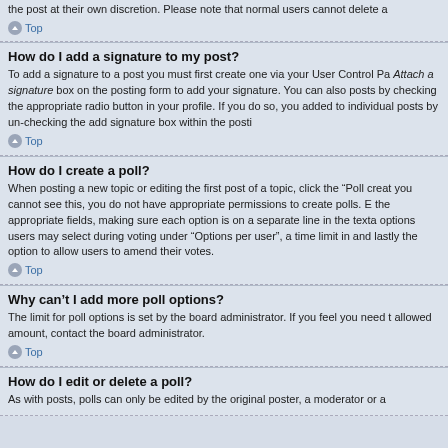the post at their own discretion. Please note that normal users cannot delete a
Top
How do I add a signature to my post?
To add a signature to a post you must first create one via your User Control Pa Attach a signature box on the posting form to add your signature. You can also posts by checking the appropriate radio button in your profile. If you do so, you added to individual posts by un-checking the add signature box within the posti
Top
How do I create a poll?
When posting a new topic or editing the first post of a topic, click the “Poll creat you cannot see this, you do not have appropriate permissions to create polls. E the appropriate fields, making sure each option is on a separate line in the texta options users may select during voting under “Options per user”, a time limit in and lastly the option to allow users to amend their votes.
Top
Why can’t I add more poll options?
The limit for poll options is set by the board administrator. If you feel you need t allowed amount, contact the board administrator.
Top
How do I edit or delete a poll?
As with posts, polls can only be edited by the original poster, a moderator or a